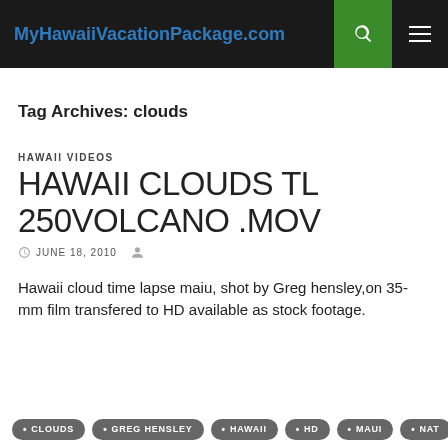MyHawaiiVacationPackage.com
Tag Archives: clouds
HAWAII VIDEOS
HAWAII CLOUDS TL 250VOLCANO .MOV
JUNE 18, 2010
Hawaii cloud time lapse maiu, shot by Greg hensley,on 35-mm film transfered to HD available as stock footage.
CLOUDS
GREG HENSLEY
HAWAII
HD
MAUI
NAT